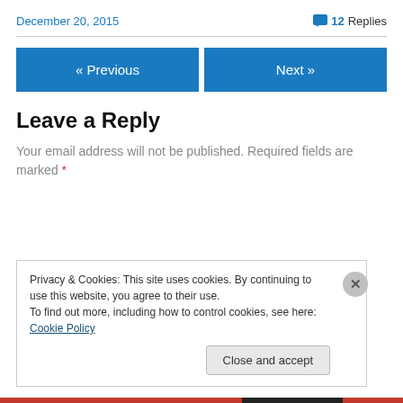December 20, 2015
💬 12 Replies
« Previous
Next »
Leave a Reply
Your email address will not be published. Required fields are marked *
Privacy & Cookies: This site uses cookies. By continuing to use this website, you agree to their use. To find out more, including how to control cookies, see here: Cookie Policy
Close and accept